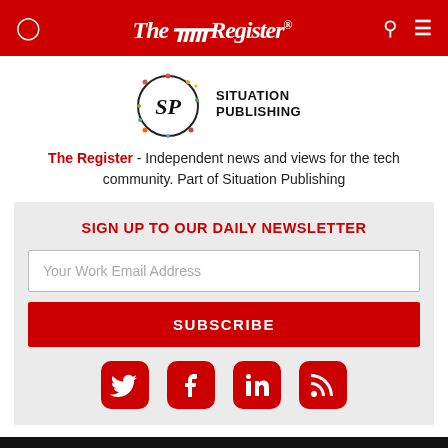The Register
[Figure (logo): Situation Publishing logo with SP monogram in a circle and text SITUATION PUBLISHING]
The Register - Independent news and views for the tech community. Part of Situation Publishing
SIGN UP TO OUR DAILY NEWSLETTER
Your Work Email Address
SUBSCRIBE
[Figure (illustration): Social media icons: Twitter, Facebook, LinkedIn, RSS feed]
Biting the hand that feeds IT © 1998–2022
Do not sell my personal information    Cookies    Privacy    Tc&Cs